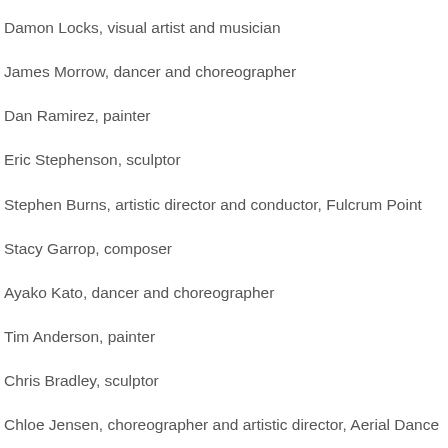Damon Locks, visual artist and musician
James Morrow, dancer and choreographer
Dan Ramirez, painter
Eric Stephenson, sculptor
Stephen Burns, artistic director and conductor, Fulcrum Point
Stacy Garrop, composer
Ayako Kato, dancer and choreographer
Tim Anderson, painter
Chris Bradley, sculptor
Chloe Jensen, choreographer and artistic director, Aerial Dance